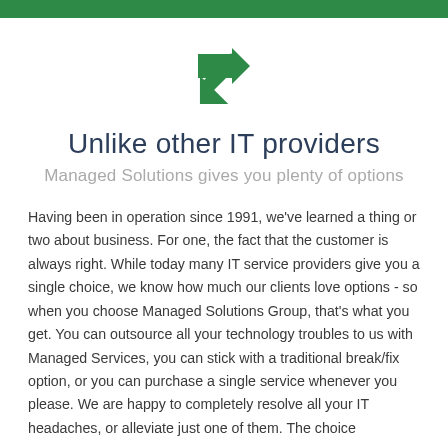[Figure (illustration): Green diagonal arrow pointing down-right]
Unlike other IT providers
Managed Solutions gives you plenty of options
Having been in operation since 1991, we've learned a thing or two about business. For one, the fact that the customer is always right. While today many IT service providers give you a single choice, we know how much our clients love options - so when you choose Managed Solutions Group, that's what you get. You can outsource all your technology troubles to us with Managed Services, you can stick with a traditional break/fix option, or you can purchase a single service whenever you please. We are happy to completely resolve all your IT headaches, or alleviate just one of them. The choice